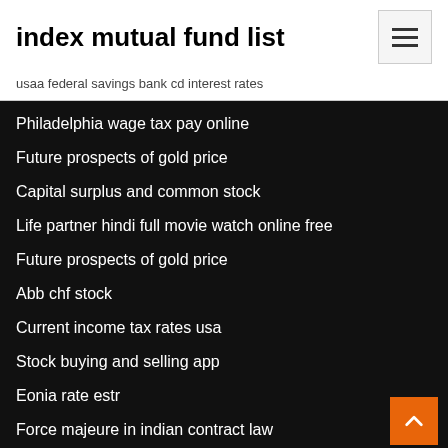index mutual fund list
usaa federal savings bank cd interest rates
Philadelphia wage tax pay online
Future prospects of gold price
Capital surplus and common stock
Life partner hindi full movie watch online free
Future prospects of gold price
Abb chf stock
Current income tax rates usa
Stock buying and selling app
Eonia rate estr
Force majeure in indian contract law